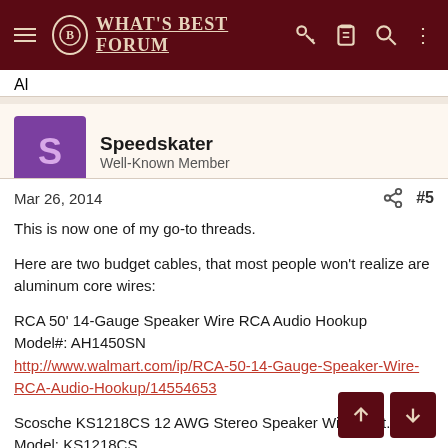WHAT'S BEST FORUM
Al
Speedskater
Well-Known Member
Mar 26, 2014  #5
This is now one of my go-to threads.

Here are two budget cables, that most people won't realize are aluminum core wires:

RCA 50' 14-Gauge Speaker Wire RCA Audio Hookup
Model#: AH1450SN
http://www.walmart.com/ip/RCA-50-14-Gauge-Speaker-Wire-RCA-Audio-Hookup/14554653

Scosche KS1218CS 12 AWG Stereo Speaker Wire 18 ft. Sp
Model: KS1218CS
http://www.parts-express.com/scosche-ks1218cs-12-awg-car-